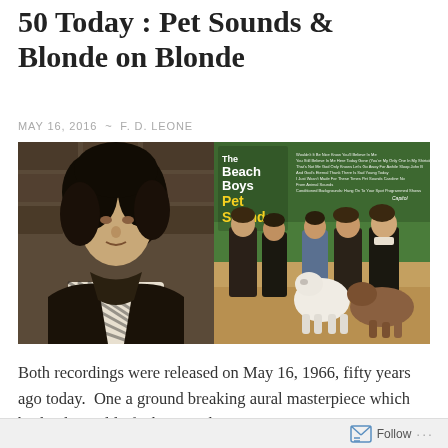50 Today : Pet Sounds & Blonde on Blonde
MAY 16, 2016  ~  F. D. LEONE
[Figure (photo): Two album covers side by side: left is Bob Dylan's 'Blonde on Blonde' showing Dylan in a dark jacket with a scarf; right is The Beach Boys 'Pet Sounds' showing the band feeding goats with green album art and yellow/white text.]
Both recordings were released on May 16, 1966, fifty years ago today.  One a ground breaking aural masterpiece which broke the mold of what a rock
Follow